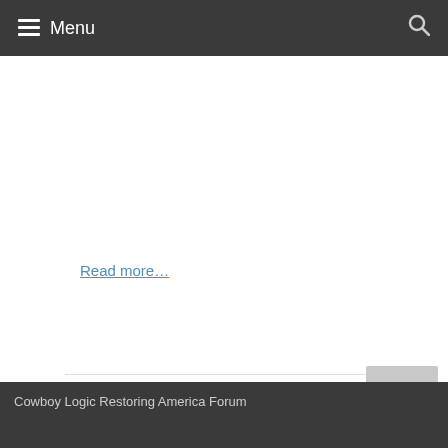Menu
Read more...
1 2 3 4 5 6 ... 62 Next »
Cowboy Logic Restoring America Forum